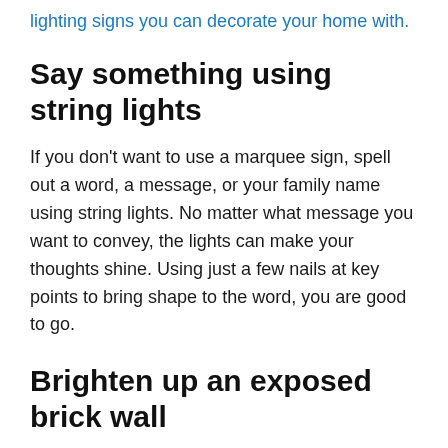lighting signs you can decorate your home with.
Say something using string lights
If you don't want to use a marquee sign, spell out a word, a message, or your family name using string lights. No matter what message you want to convey, the lights can make your thoughts shine. Using just a few nails at key points to bring shape to the word, you are good to go.
Brighten up an exposed brick wall